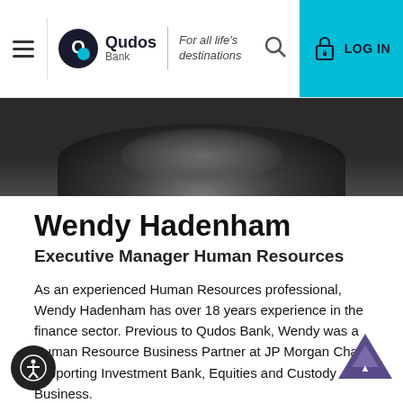Qudos Bank — For all life's destinations
[Figure (photo): Dark background header photo, partial view of a person]
Wendy Hadenham
Executive Manager Human Resources
As an experienced Human Resources professional, Wendy Hadenham has over 18 years experience in the finance sector. Previous to Qudos Bank, Wendy was a Human Resource Business Partner at JP Morgan Chase, supporting Investment Bank, Equities and Custody Business. She joined Qudos Bank in 2011 as an Assistant Manager before moving into Manager and the Executive Manager Human Resources in 2019. In this, Wendy focuses on empowering our people through our values, development opportunities and